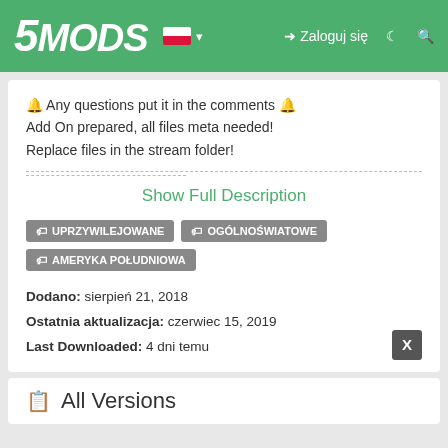5MODS — Zaloguj się
🔔 Any questions put it in the comments 🔔
Add On prepared, all files meta needed!
Replace files in the stream folder!
Show Full Description
🏷 UPRZYWILEJOWANE
🏷 OGÓLNOŚWIATOWE
🏷 AMERYKA POŁUDNIOWA
Dodano: sierpień 21, 2018
Ostatnia aktualizacja: czerwiec 15, 2019
Last Downloaded: 4 dni temu
All Versions